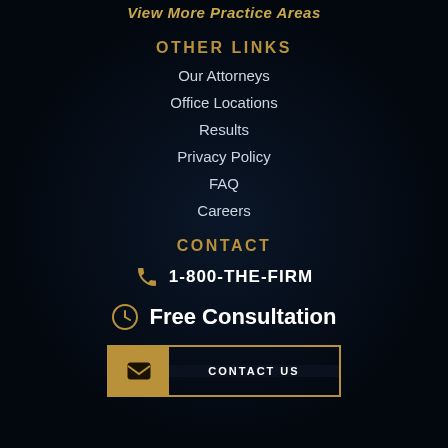View More Practice Areas
OTHER LINKS
Our Attorneys
Office Locations
Results
Privacy Policy
FAQ
Careers
CONTACT
1-800-THE-FIRM
Free Consultation
CONTACT US